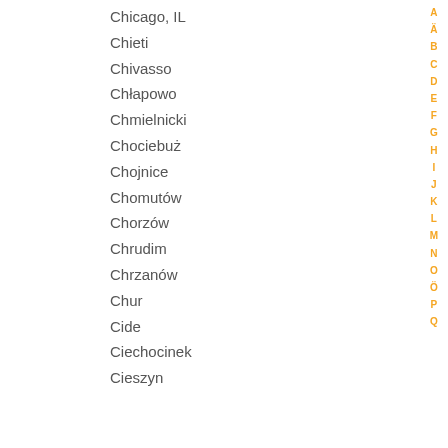Chicago, IL
Chieti
Chivasso
Chłapowo
Chmielnicki
Chociebuż
Chojnice
Chomutów
Chorzów
Chrudim
Chrzanów
Chur
Cide
Ciechocinek
Cieszyn